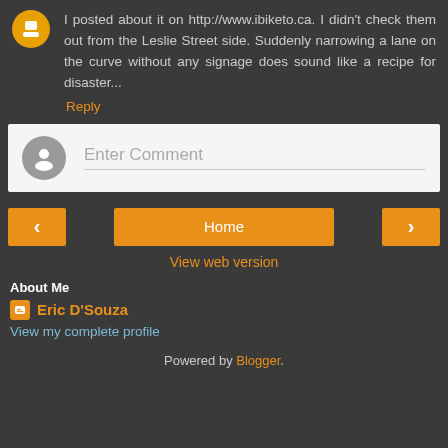I posted about it on http://www.ibiketo.ca. I didn't check them out from the Leslie Street side. Suddenly narrowing a lane on the curve without any signage does sound like a recipe for disaster...
Reply
[Figure (screenshot): Enter Comment input field with gray avatar icon]
< Home >
View web version
About Me
Eric D'Souza
View my complete profile
Powered by Blogger.